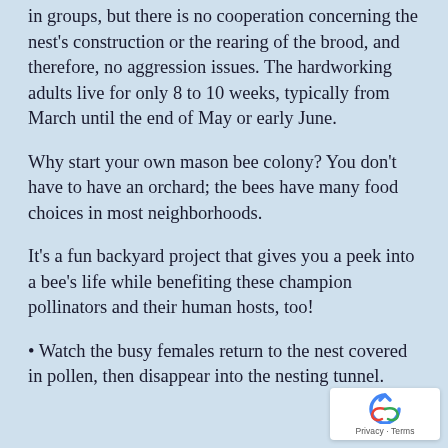in groups, but there is no cooperation concerning the nest's construction or the rearing of the brood, and therefore, no aggression issues. The hardworking adults live for only 8 to 10 weeks, typically from March until the end of May or early June.
Why start your own mason bee colony? You don't have to have an orchard; the bees have many food choices in most neighborhoods.
It's a fun backyard project that gives you a peek into a bee's life while benefiting these champion pollinators and their human hosts, too!
• Watch the busy females return to the nest covered in pollen, then disappear into the nesting tunnel.